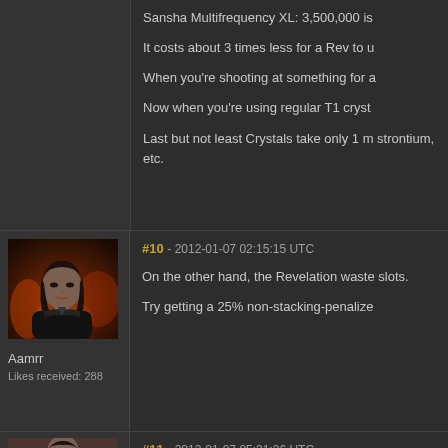Sansha Multifrequency XL: 3,500,000 is
It costs about 3 times less for a Rev to u
When you're shooting at something for a
Now when you're using regular T1 cryst
Last but not least Crystals take only 1 m strontium, etc.
[Figure (photo): Avatar of user Aamrr: dark-haired female character in black outfit against fiery background]
Aamrr
Likes received: 288
#10 - 2012-01-07 02:15:15 UTC
On the other hand, the Revelation waste slots.
Try getting a 25% non-stacking-penalize
#11 - 2012-01-07 05:31:26 UTC